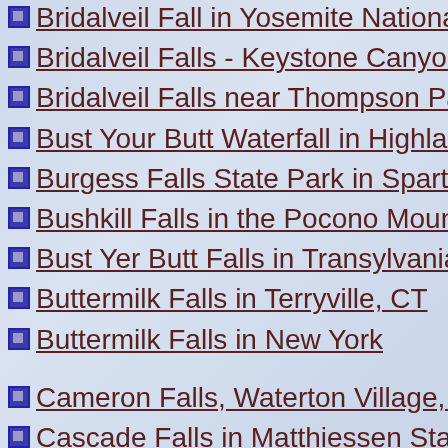Bridalveil Fall in Yosemite National Park
Bridalveil Falls - Keystone Canyon near
Bridalveil Falls near Thompson Pass (2
Bust Your Butt Waterfall in Highlands, N
Burgess Falls State Park in Sparta TN &
Bushkill Falls in the Pocono Mountains o
Bust Yer Butt Falls in Transylvania Coun
Buttermilk Falls in Terryville, CT
Buttermilk Falls in New York
Cameron Falls, Waterton Village, Water
Cascade Falls in Matthiessen State Par
Cascade Falls in the Western Upper Pe
Catawba Falls (2019 & 2022) plus Arrow
Cathedral Falls in Gauley Bridge